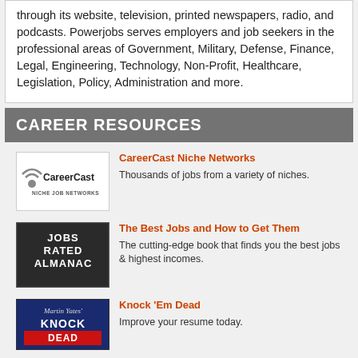through its website, television, printed newspapers, radio, and podcasts. Powerjobs serves employers and job seekers in the professional areas of Government, Military, Defense, Finance, Legal, Engineering, Technology, Non-Profit, Healthcare, Legislation, Policy, Administration and more.
CAREER RESOURCES
[Figure (logo): CareerCast Niche Job Networks logo]
CareerCast Niche Networks
Thousands of jobs from a variety of niches.
[Figure (logo): Jobs Rated Almanac logo]
The Best Jobs and How to Get Them
The cutting-edge book that finds you the best jobs & highest incomes.
[Figure (logo): Knock 'Em Dead book cover logo]
Knock 'Em Dead
Improve your resume today.